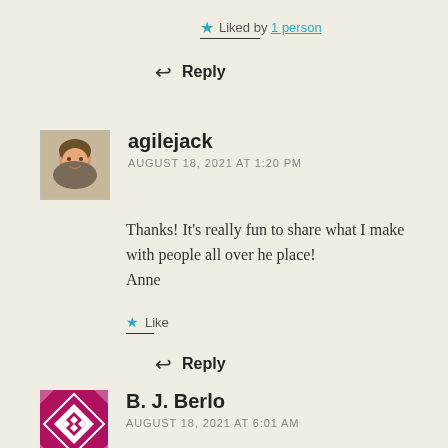★ Liked by 1 person
↩ Reply
agilejack
AUGUST 18, 2021 AT 1:20 PM
Thanks! It's really fun to share what I make with people all over he place!
Anne
★ Like
↩ Reply
B. J. Berlo
AUGUST 18, 2021 AT 6:01 AM